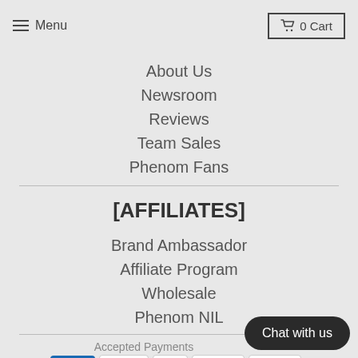Menu | 0 Cart
About Us
Newsroom
Reviews
Team Sales
Phenom Fans
[AFFILIATES]
Brand Ambassador
Affiliate Program
Wholesale
Phenom NIL
Accepted Payments
[Figure (infographic): Payment icons: AMEX, Apple Pay, Diners, Discover, Meta, OPay, Venmo, Visa]
Chat with us